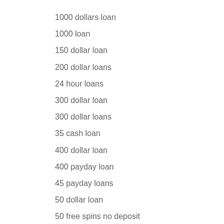1000 dollars loan
1000 loan
150 dollar loan
200 dollar loans
24 hour loans
300 dollar loan
300 dollar loans
35 cash loan
400 dollar loan
400 payday loan
45 payday loans
50 dollar loan
50 free spins no deposit
50 freispiele ohne einzahlung
500 dollar loan